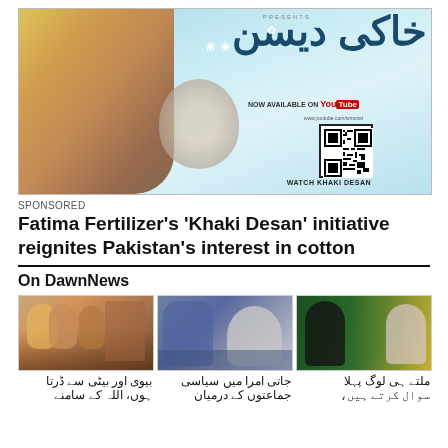[Figure (photo): Advertisement banner for 'Khaki Desan' by Fatima Fertilizer showing a woman in yellow dupatta, cotton flowers, QR code, and YouTube logo. Text: PRESENTS, Urdu title, NOW AVAILABLE ON YouTube, www.youtube.com/smsmst, WATCH KHAKI DESAN]
SPONSORED
Fatima Fertilizer's 'Khaki Desan' initiative reignites Pakistan's interest in cotton
On DawnNews
[Figure (photo): Thumbnail of women sitting in a living room setting]
[Figure (photo): Thumbnail of two men at a press conference]
[Figure (photo): Thumbnail of two people standing in front of Pakistani flag]
بیوی اور بیٹی سے ڈرتا ہوں، اللہ کے سامنے
جاتی امرا میں سیاسی جماعتوں کے درمیان
ملتے ہی لوگ پہلا سوال کرتے ہیں،